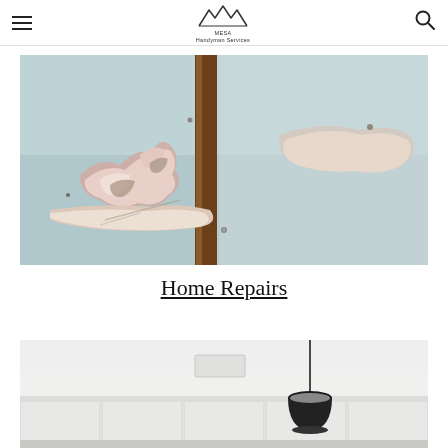Mesa Handyman Services — navigation header with logo and search
[Figure (photo): Close-up photo of a wall with peeling and chipped paint revealing underlying layers, in light blue/gray tones with exposed wood and damaged surface texture]
Home Repairs
[Figure (photo): Interior kitchen or room scene with white cabinets, white walls, a pendant black lamp hanging from ceiling, and a small white box/fixture on the ceiling]